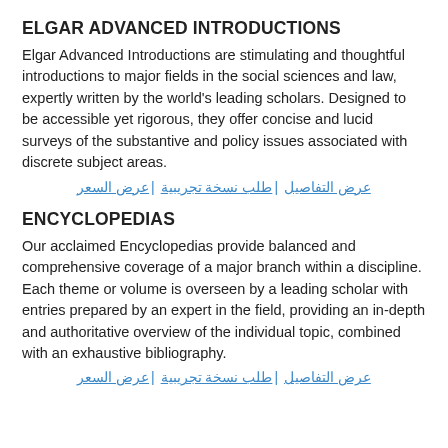ELGAR ADVANCED INTRODUCTIONS
Elgar Advanced Introductions are stimulating and thoughtful introductions to major fields in the social sciences and law, expertly written by the world's leading scholars. Designed to be accessible yet rigorous, they offer concise and lucid surveys of the substantive and policy issues associated with discrete subject areas.
عرض التفاصيل | طلب نسخة تجريبية | عرض السعر
ENCYCLOPEDIAS
Our acclaimed Encyclopedias provide balanced and comprehensive coverage of a major branch within a discipline. Each theme or volume is overseen by a leading scholar with entries prepared by an expert in the field, providing an in-depth and authoritative overview of the individual topic, combined with an exhaustive bibliography.
عرض التفاصيل | طلب نسخة تجريبية | عرض السعر